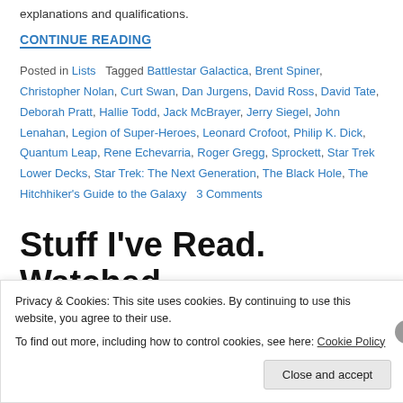explanations and qualifications.
CONTINUE READING
Posted in Lists   Tagged Battlestar Galactica, Brent Spiner, Christopher Nolan, Curt Swan, Dan Jurgens, David Ross, David Tate, Deborah Pratt, Hallie Todd, Jack McBrayer, Jerry Siegel, John Lenahan, Legion of Super-Heroes, Leonard Crofoot, Philip K. Dick, Quantum Leap, Rene Echevarria, Roger Gregg, Sprockett, Star Trek Lower Decks, Star Trek: The Next Generation, The Black Hole, The Hitchhiker's Guide to the Galaxy   3 Comments
Stuff I've Read. Watched.
Privacy & Cookies: This site uses cookies. By continuing to use this website, you agree to their use.
To find out more, including how to control cookies, see here: Cookie Policy
Close and accept